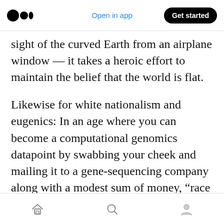Medium logo | Open in app | Get started
sight of the curved Earth from an airplane window — it takes a heroic effort to maintain the belief that the world is flat.
Likewise for white nationalism and eugenics: In an age where you can become a computational genomics datapoint by swabbing your cheek and mailing it to a gene-sequencing company along with a modest sum of money, “race science” has never been easier to refute.
We are living through a golden age of both readily available facts and denial of those facts.
Home | Search | Profile